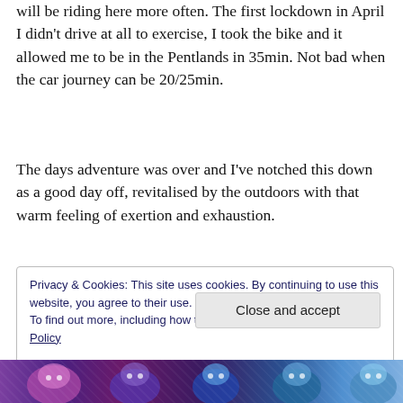will be riding here more often. The first lockdown in April I didn't drive at all to exercise, I took the bike and it allowed me to be in the Pentlands in 35min. Not bad when the car journey can be 20/25min.
The days adventure was over and I've notched this down as a good day off, revitalised by the outdoors with that warm feeling of exertion and exhaustion.
Privacy & Cookies: This site uses cookies. By continuing to use this website, you agree to their use.
To find out more, including how to control cookies, see here: Cookie Policy
[Close and accept]
[Figure (photo): Colorful illustrated image strip at the bottom of the page, showing stylized characters in purple, blue, and teal tones]